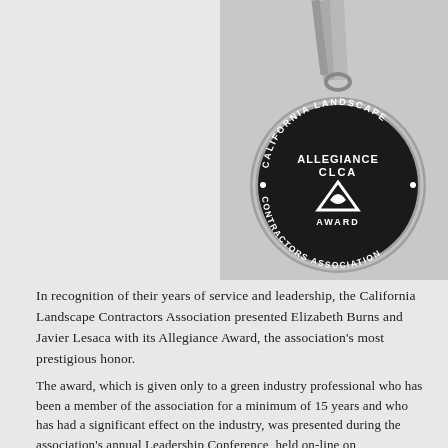[Figure (photo): Black and white photograph of the California Landscape Contractors Association Allegiance CLCA Award medal, a round dark medal with a ribbon, inscribed with 'CALIFORNIA LANDSCAPE CONTRACTORS ASSOCIATION' around the edge and 'ALLEGIANCE CLCA AWARD' in the center with a logo.]
In recognition of their years of service and leadership, the California Landscape Contractors Association presented Elizabeth Burns and Javier Lesaca with its Allegiance Award, the association's most prestigious honor.
The award, which is given only to a green industry professional who has been a member of the association for a minimum of 15 years and who has had a significant effect on the industry, was presented during the association's annual Leadership Conference, held on-line on